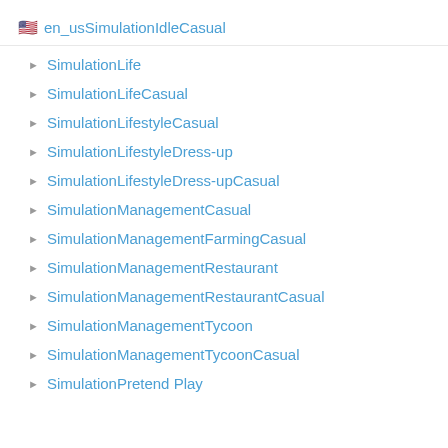🇺🇸 en_usSimulationIdleCasual
SimulationLife
SimulationLifeCasual
SimulationLifestyleCasual
SimulationLifestyleDress-up
SimulationLifestyleDress-upCasual
SimulationManagementCasual
SimulationManagementFarmingCasual
SimulationManagementRestaurant
SimulationManagementRestaurantCasual
SimulationManagementTycoon
SimulationManagementTycoonCasual
SimulationPretend Play